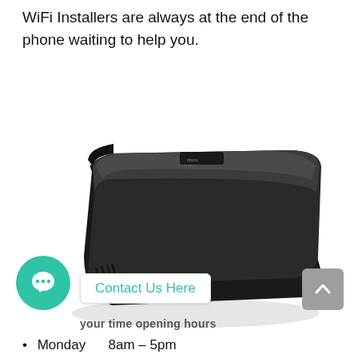WiFi Installers are always at the end of the phone waiting to help you.
[Figure (photo): Photo of a black Linksys wireless router (flat, rounded rectangular shape) viewed from a front-angled perspective on a white background.]
[Figure (illustration): Teal circular chat bubble icon button (contact widget)]
Contact Us Here
your time opening hours
Monday      8am – 5pm